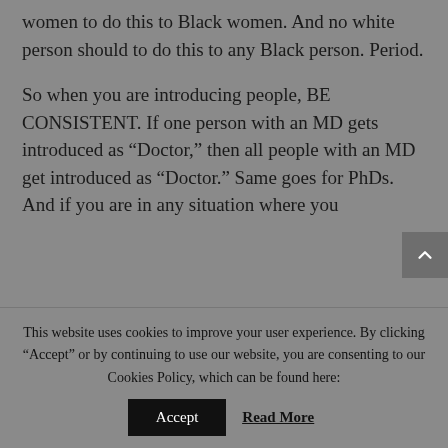women to do this to Black women. And no white person should to do this to any Black person. Period.

So when you are introducing people, BE CONSISTENT. If one person with an MD gets introduced as “Doctor,” then all people with an MD get introduced as “Doctor.” Same goes for PhDs. And if you are in any situation where you
This website uses cookies to improve your user experience. By clicking “Accept” or by continuing to use our website, you are consenting to our Cookies Policy, which can be found here: